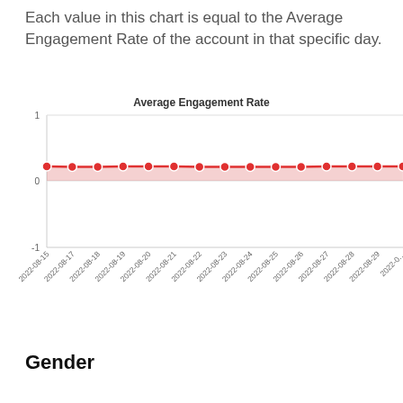Each value in this chart is equal to the Average Engagement Rate of the account in that specific day.
[Figure (line-chart): Average Engagement Rate]
Gender